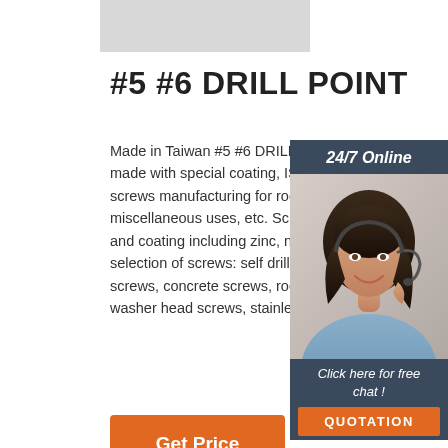#5 #6 DRILL POINT
Made in Taiwan #5 #6 DRILL POINT supplies made with special coating, ISO processes. 2 screws manufacturing for roofing, decking, miscellaneous uses, etc. Screws with specia and coating including zinc, nickel and chrom selection of screws: self drilling screws, self t screws, concrete screws, roofing screws, fla washer head screws, stainless steel ...
[Figure (photo): Woman with headset for online chat support widget. Dark background with '24/7 Online' header and 'Click here for free chat!' text with QUOTATION button.]
Get Price
24/7 Online
Click here for free chat !
QUOTATION